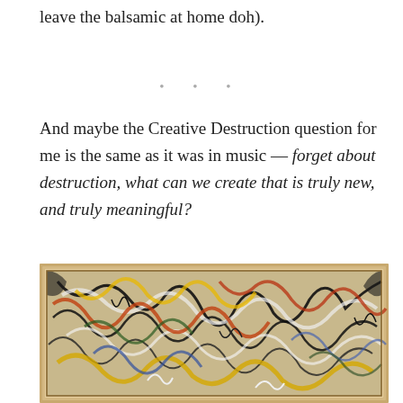leave the balsamic at home doh).
• • •
And maybe the Creative Destruction question for me is the same as it was in music — forget about destruction, what can we create that is truly new, and truly meaningful?
[Figure (photo): Abstract expressionist painting in the style of Jackson Pollock — chaotic drip painting with swirling patterns of black, white, yellow, orange/red, blue, and green on a light background, framed in a wooden frame.]